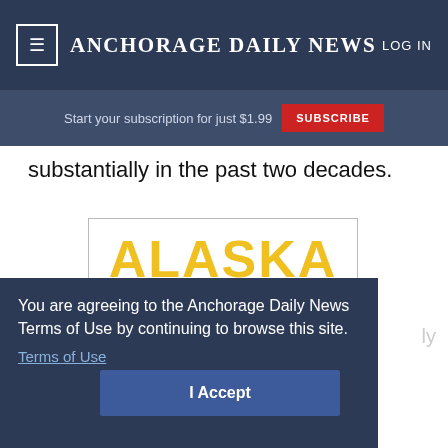≡ ANCHORAGE DAILY NEWS  LOG IN
Start your subscription for just $1.99  SUBSCRIBE
substantially in the past two decades.
[Figure (illustration): Alaska Gold Kings - A Hockey Documentary advertisement. Large yellow text 'ALASKA', grey text 'GOLD KINGS', blue text 'A HOCKEY DOCUMENTARY', and '2:00pm SATURDAY, SEPTEMBER 10th']
You are agreeing to the Anchorage Daily News Terms of Use by continuing to browse this site.
Terms of Use
I Accept